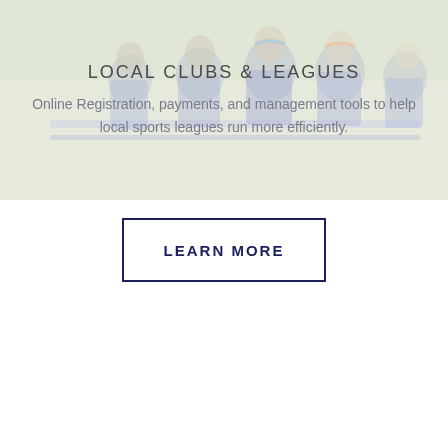[Figure (photo): Group of young female soccer players in blue/gold uniforms sitting on a bench, viewed from behind, with a light overlay.]
LOCAL CLUBS & LEAGUES
Online Registration, payments, and management tools to help local sports leagues run more efficiently.
LEARN MORE